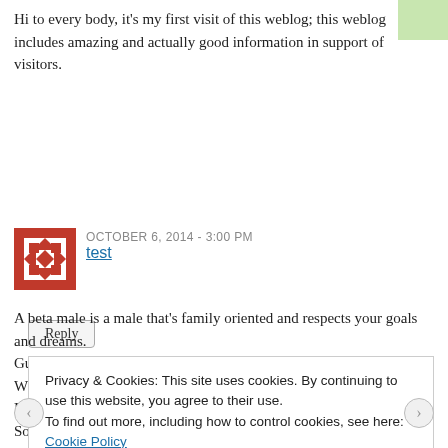Hi to every body, it's my first visit of this weblog; this weblog includes amazing and actually good information in support of visitors.
Reply
OCTOBER 6, 2014 - 3:00 PM
test
A beta male is a male that's family oriented and respects your goals and dreams.
Guys who are tense come off as having a lot of issues.
Where to check: Luxergy, Arizona Climbing and Adventure School, PADI (Scuba Diving) What you'll pay for his Christmas Gift: Somewhere between $75.
Privacy & Cookies: This site uses cookies. By continuing to use this website, you agree to their use.
To find out more, including how to control cookies, see here: Cookie Policy
Close and accept